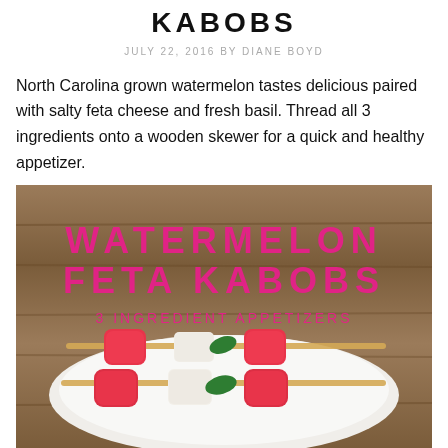KABOBS
JULY 22, 2016 BY DIANE BOYD
North Carolina grown watermelon tastes delicious paired with salty feta cheese and fresh basil. Thread all 3 ingredients onto a wooden skewer for a quick and healthy appetizer.
[Figure (photo): Photo of watermelon feta kabobs on a white plate on a wooden surface, with overlay text reading WATERMELON FETA KABOBS 3 INGREDIENT APPETIZERS in pink bold letters]